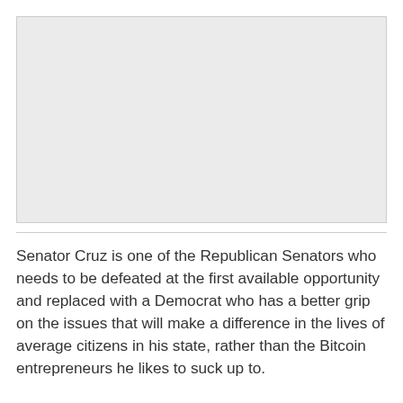[Figure (other): Gray placeholder image box]
Senator Cruz is one of the Republican Senators who needs to be defeated at the first available opportunity and replaced with a Democrat who has a better grip on the issues that will make a difference in the lives of average citizens in his state, rather than the Bitcoin entrepreneurs he likes to suck up to.